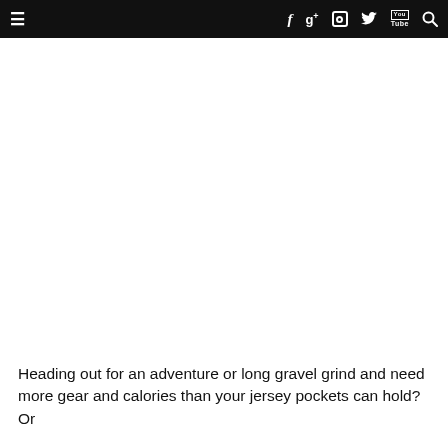Navigation bar with hamburger menu, Facebook, Google+, Instagram, Twitter, YouTube, and Search icons
[Figure (other): Large white/blank content area below navigation bar, likely an advertisement or image placeholder]
Heading out for an adventure or long gravel grind and need more gear and calories than your jersey pockets can hold? Or